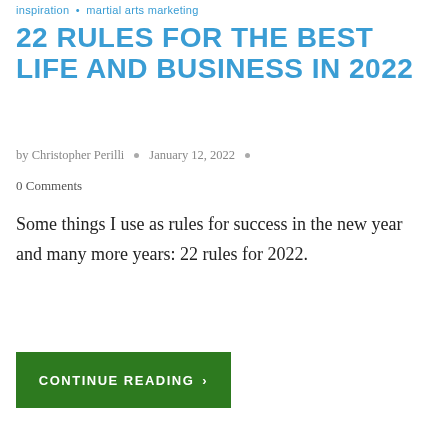inspiration • martial arts marketing
22 RULES FOR THE BEST LIFE AND BUSINESS IN 2022
by Christopher Perilli • January 12, 2022 •
0 Comments
Some things I use as rules for success in the new year and many more years: 22 rules for 2022.
CONTINUE READING >